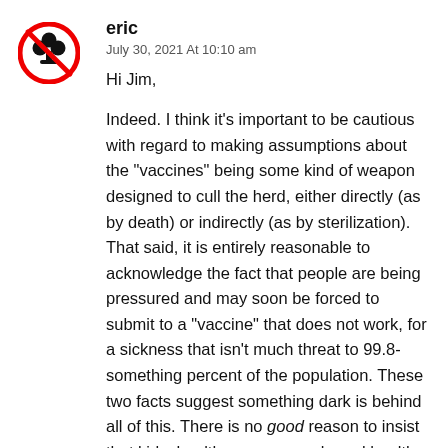[Figure (logo): Red circle with a black club (card suit) symbol crossed out with a red diagonal line]
eric
July 30, 2021 At 10:10 am
Hi Jim,

Indeed. I think it’s important to be cautious with regard to making assumptions about the “vaccines” being some kind of weapon designed to cull the herd, either directly (as by death) or indirectly (as by sterilization). That said, it is entirely reasonable to acknowledge the fact that people are being pressured and may soon be forced to submit to a “vaccine” that does not work, for a sickness that isn’t much threat to 99.8-something percent of the population. These two facts suggest something dark is behind all of this. There is no good reason to insist that kids, healthy young people and healthy people generally